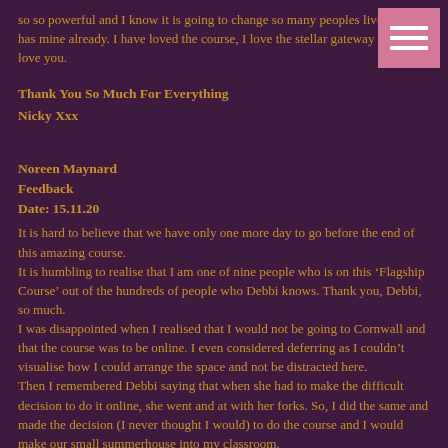so so powerful and I know it is going to change so many peoples lives as it has mine already. I have loved the course, I love the stellar gateway and I love you.
Thank You So Much For Everything
Nicky Xxx
Noreen Maynard
Feedback
Date: 15.11.20
It is hard to believe that we have only one more day to go before the end of this amazing course.
It is humbling to realise that I am one of nine people who is on this ‘Flagship Course’ out of the hundreds of people who Debbi knows. Thank you, Debbi, so much.
I was disappointed when I realised that I would not be going to Cornwall and that the course was to be online. I even considered deferring as I couldn’t visualise how I could arrange the space and not be distracted here.
Then I remembered Debbi saying that when she had to make the difficult decision to do it online, she went and at with her forks. So, I did the same and made the decision (I never thought I would) to do the course and I would make our small summerhouse into my classroom.
I am so, so pleased I made that decision. From the very beginning there was connection between us and the way Debbi teaches is amazing. We listen, learn and then do.
There is so much space to be and do our own work. You grow daily in ways you would